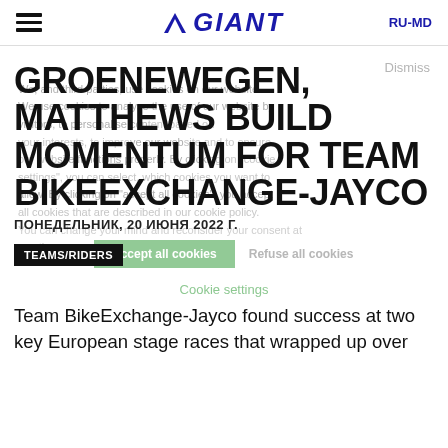GIANT RU-MD
We, and third parties, use cookies on our website. We use cookies to analyse the use of our website by visitors, to personalise content based on your interests, to improve our website and to ensure our website functions properly. By clicking on "cookie settings", you can select, which cookies you want to allow. By clicking on "accept all cookies", you accept all cookies that are described in our cookie policy. You can change your mind and reconsider your consent at any time.
GROENEWEGEN, MATTHEWS BUILD MOMENTUM FOR TEAM BIKEEXCHANGE-JAYCO
ПОНЕДЕЛЬНИК, 20 ИЮНЯ 2022 Г.
TEAMS/RIDERS
Cookie settings
Team BikeExchange-Jayco found success at two key European stage races that wrapped up over